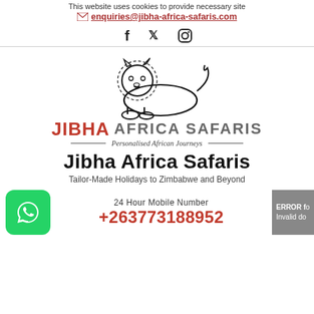This website uses cookies to provide necessary site
enquiries@jibha-africa-safaris.com
[Figure (infographic): Social media icons: Facebook (f), Twitter (bird), Instagram (camera)]
[Figure (logo): Jibha Africa Safaris logo with a lion illustration above the brand name JIBHA AFRICA SAFARIS and tagline Personalised African Journeys]
Jibha Africa Safaris
Tailor-Made Holidays to Zimbabwe and Beyond
24 Hour Mobile Number
+263773188952
ERROR for Invalid do